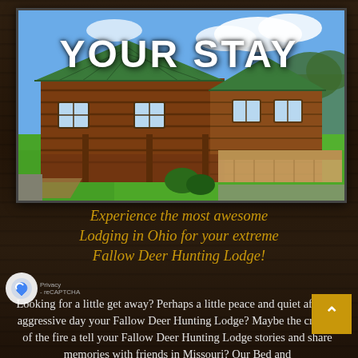YOUR STAY
[Figure (photo): Log cabin lodge with green metal roof, covered porch, wooden deck, and green lawn. Blue sky with clouds in background.]
Experience the most awesome Lodging in Ohio for your extreme Fallow Deer Hunting Lodge!
Looking for a little get away? Perhaps a little peace and quiet after an aggressive day your Fallow Deer Hunting Lodge? Maybe the crackle of the fire a tell your Fallow Deer Hunting Lodge stories and share memories with friends in Missouri? Our Bed and